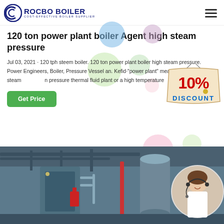ROCBO BOILER — COST-EFFECTIVE BOILER SUPPLIER
120 ton power plant boiler Agent high steam pressure
Jul 03, 2021 · 120 tph steem boiler. 120 ton power plant boiler high steam pressure. Power Engineers, Boiler, Pressure Vessel an. Kefid·"power plant" means a high pressure steam n pressure thermal fluid plant or a high temperature
[Figure (other): 10% Discount badge/label overlay]
Get Price
[Figure (photo): Industrial boiler plant interior with pipes and equipment; circular inset photo of a female customer service representative wearing a headset]